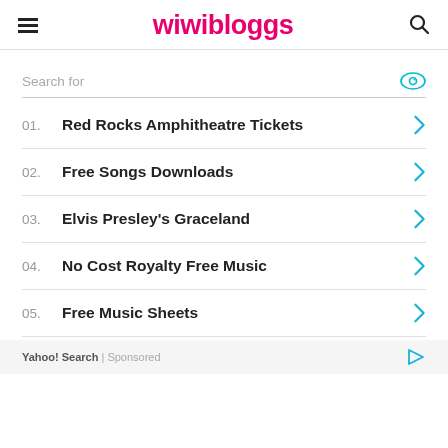wiwibloggs
Search for
01. Red Rocks Amphitheatre Tickets
02. Free Songs Downloads
03. Elvis Presley's Graceland
04. No Cost Royalty Free Music
05. Free Music Sheets
Yahoo! Search | Sponsored